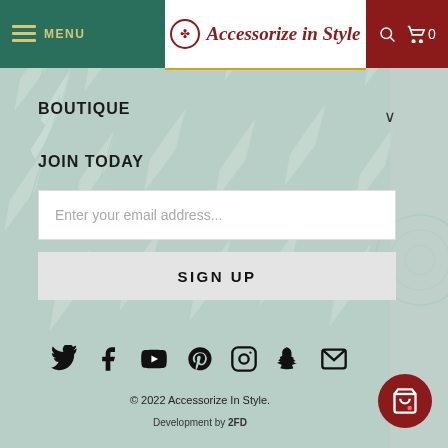MENU | Accessorize in Style | 0
BOUTIQUE
JOIN TODAY
Enter your email address...
SIGN UP
[Figure (infographic): Social media icons row: Twitter, Facebook, YouTube, Pinterest, Instagram, Snapchat, Email]
© 2022 Accessorize In Style.
Development by 2FD